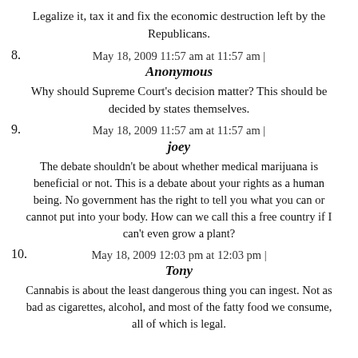Legalize it, tax it and fix the economic destruction left by the Republicans.
May 18, 2009 11:57 am at 11:57 am |
8. Anonymous
Why should Supreme Court's decision matter? This should be decided by states themselves.
May 18, 2009 11:57 am at 11:57 am |
9. joey
The debate shouldn't be about whether medical marijuana is beneficial or not. This is a debate about your rights as a human being. No government has the right to tell you what you can or cannot put into your body. How can we call this a free country if I can't even grow a plant?
May 18, 2009 12:03 pm at 12:03 pm |
10. Tony
Cannabis is about the least dangerous thing you can ingest. Not as bad as cigarettes, alcohol, and most of the fatty food we consume, all of which is legal.